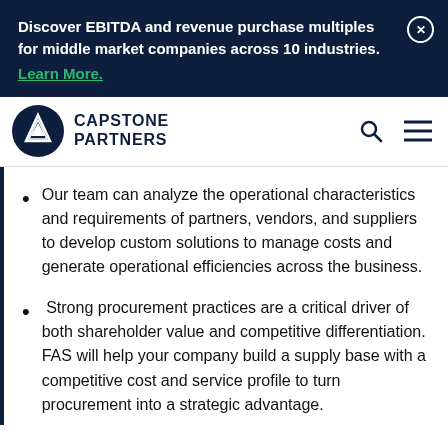Discover EBITDA and revenue purchase multiples for middle market companies across 10 industries. Learn More.
[Figure (logo): Capstone Partners logo with mountain/peak icon and bold text CAPSTONE PARTNERS]
Our team can analyze the operational characteristics and requirements of partners, vendors, and suppliers to develop custom solutions to manage costs and generate operational efficiencies across the business.
Strong procurement practices are a critical driver of both shareholder value and competitive differentiation. FAS will help your company build a supply base with a competitive cost and service profile to turn procurement into a strategic advantage.